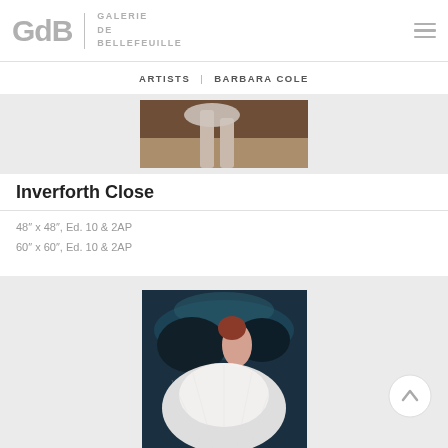GdB GALERIE DE BELLEFEUILLE
ARTISTS | BARBARA COLE
[Figure (photo): Partial view of a figure in white dress running, warm brown tones, bottom portion cropped]
Inverforth Close
48" x 48", Ed. 10 & 2AP
60" x 60", Ed. 10 & 2AP
[Figure (photo): Underwater photograph of a figure in a voluminous white tulle dress, dark blue-green water background with red hair visible]